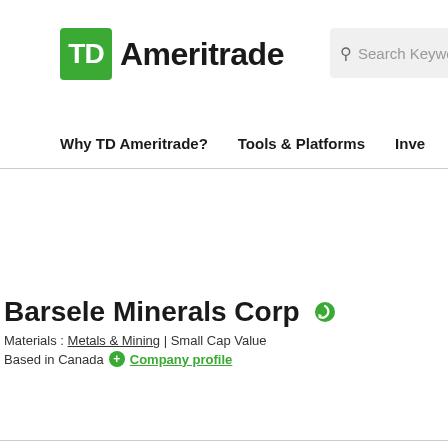TD Ameritrade | Search Keyword
Why TD Ameritrade? | Tools & Platforms | Inve
Barsele Minerals Corp
Materials : Metals & Mining | Small Cap Value
Based in Canada  Company profile